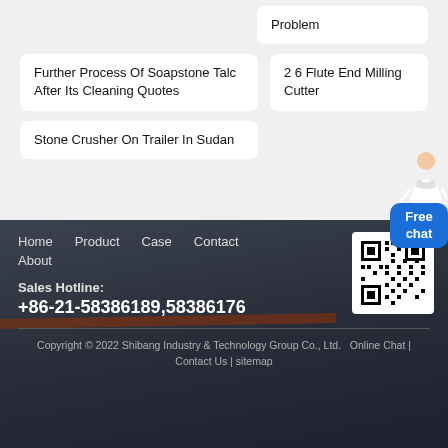Problem
Further Process Of Soapstone Talc After Its Cleaning Quotes
2 6 Flute End Milling Cutter
Stone Crusher On Trailer In Sudan
[Figure (other): Free chat widget with person illustration and blue chat bubble]
Home  Product  Case  Contact  About
[Figure (other): QR code image]
Sales Hotline:
+86-21-58386189,58386176
Copyright © 2022 Shibang Industry & Technology Group Co., Ltd.  Online Chat | Contact Us | sitemap